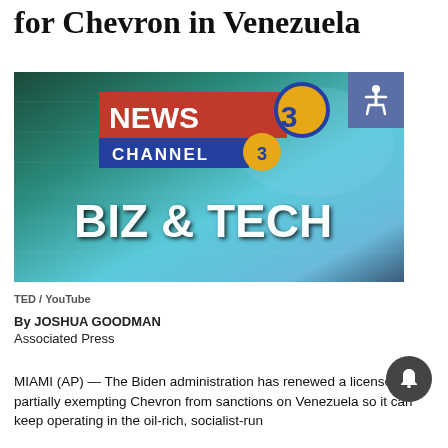for Chevron in Venezuela
[Figure (photo): News Channel 3 Biz & Tech banner image with stylized glasses reflecting financial data screens in background]
TED / YouTube
By JOSHUA GOODMAN
Associated Press
MIAMI (AP) — The Biden administration has renewed a license partially exempting Chevron from sanctions on Venezuela so it can keep operating in the oil-rich, socialist-run